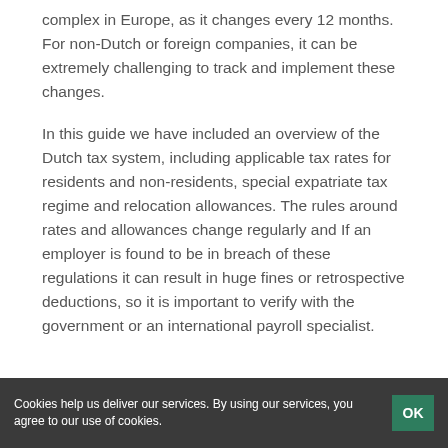complex in Europe, as it changes every 12 months. For non-Dutch or foreign companies, it can be extremely challenging to track and implement these changes.
In this guide we have included an overview of the Dutch tax system, including applicable tax rates for residents and non-residents, special expatriate tax regime and relocation allowances. The rules around rates and allowances change regularly and If an employer is found to be in breach of these regulations it can result in huge fines or retrospective deductions, so it is important to verify with the government or an international payroll specialist.
Cookies help us deliver our services. By using our services, you agree to our use of cookies.